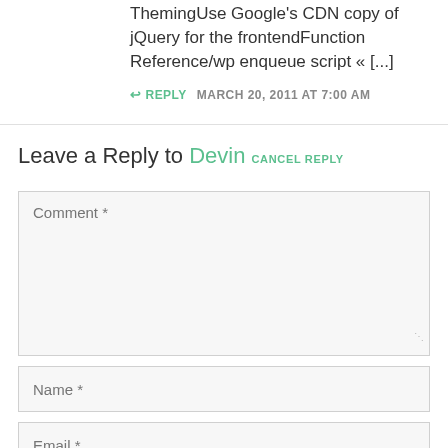ThemingUse Google's CDN copy of jQuery for the frontendFunction Reference/wp enqueue script « [...]
↩ REPLY   MARCH 20, 2011 AT 7:00 AM
Leave a Reply to Devin CANCEL REPLY
Comment *
Name *
Email *